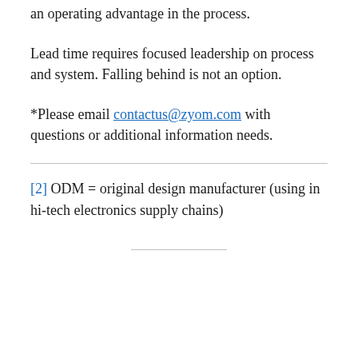an operating advantage in the process.
Lead time requires focused leadership on process and system. Falling behind is not an option.
*Please email contactus@zyom.com with questions or additional information needs.
[2] ODM = original design manufacturer (using in hi-tech electronics supply chains)